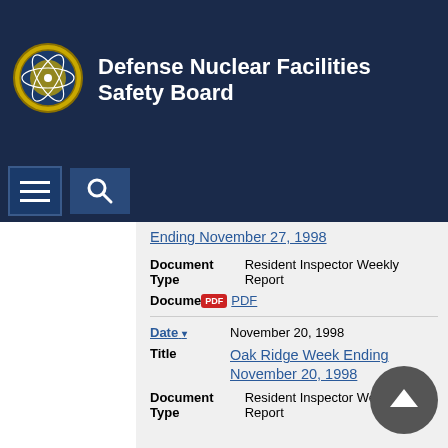Defense Nuclear Facilities Safety Board
[Figure (logo): Defense Nuclear Facilities Safety Board seal/logo]
Ending November 27, 1998
Document Type: Resident Inspector Weekly Report
Document: PDF
Date: November 20, 1998
Title: Oak Ridge Week Ending November 20, 1998
Document Type: Resident Inspector Weekly Report